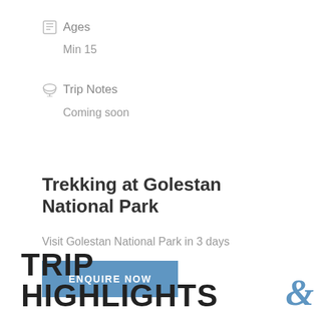Ages
Min 15
Trip Notes
Coming soon
Trekking at Golestan National Park
Visit Golestan National Park in 3 days
ENQUIRE NOW
TRIP HIGHLIGHTS &